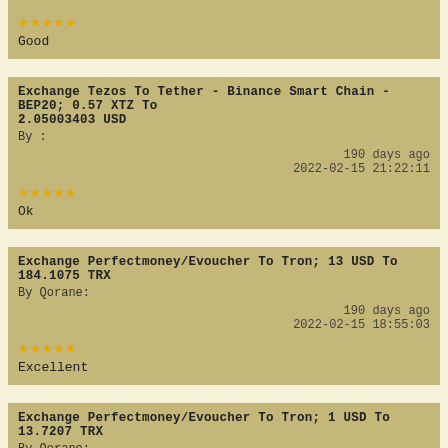★★★★★
Good
Exchange Tezos To Tether - Binance Smart Chain - BEP20; 0.57 XTZ To 2.05003403 USD
By :
190 days ago
2022-02-15 21:22:11
★★★★★
Ok
Exchange Perfectmoney/Evoucher To Tron; 13 USD To 184.1075 TRX
By Qorane:
190 days ago
2022-02-15 18:55:03
★★★★★
Excellent
Exchange Perfectmoney/Evoucher To Tron; 1 USD To 13.7207 TRX
By Qorane: